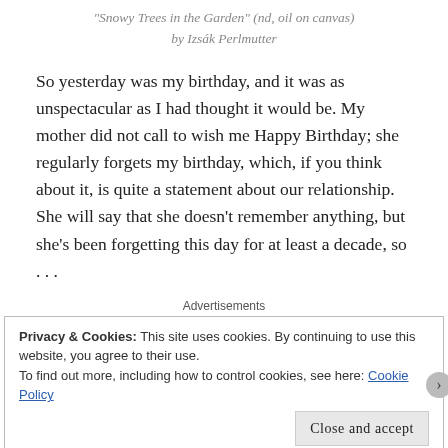“Snowy Trees in the Garden” (nd, oil on canvas) by Izsák Perlmutter
So yesterday was my birthday, and it was as unspectacular as I had thought it would be. My mother did not call to wish me Happy Birthday; she regularly forgets my birthday, which, if you think about it, is quite a statement about our relationship. She will say that she doesn’t remember anything, but she’s been forgetting this day for at least a decade, so . . .
Advertisements
Privacy & Cookies: This site uses cookies. By continuing to use this website, you agree to their use.
To find out more, including how to control cookies, see here: Cookie Policy
Close and accept